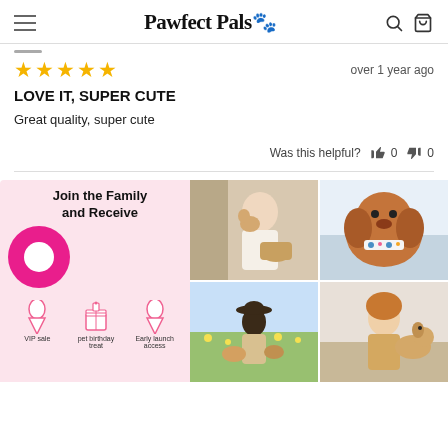Pawfect Pals 🐾
★★★★★  over 1 year ago
LOVE IT, SUPER CUTE
Great quality, super cute
Was this helpful? 👍 0 👎 0
[Figure (infographic): Pink promotional box: Join the Family and Receive, with pink circle icon and VIP sale, pet birthday treat, Early launch access icons]
[Figure (photo): Four photo grid: woman kissing small dog, golden retriever puppy wearing floral bandana, woman with dogs in field, woman with dog]